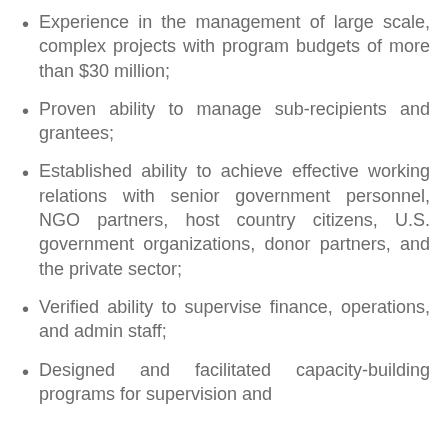Experience in the management of large scale, complex projects with program budgets of more than $30 million;
Proven ability to manage sub-recipients and grantees;
Established ability to achieve effective working relations with senior government personnel, NGO partners, host country citizens, U.S. government organizations, donor partners, and the private sector;
Verified ability to supervise finance, operations, and admin staff;
Designed and facilitated capacity-building programs for supervision and